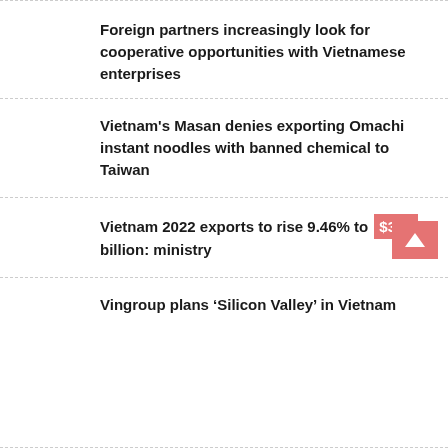Foreign partners increasingly look for cooperative opportunities with Vietnamese enterprises
Vietnam's Masan denies exporting Omachi instant noodles with banned chemical to Taiwan
Vietnam 2022 exports to rise 9.46% to $368 billion: ministry
Vingroup plans ‘Silicon Valley’ in Vietnam